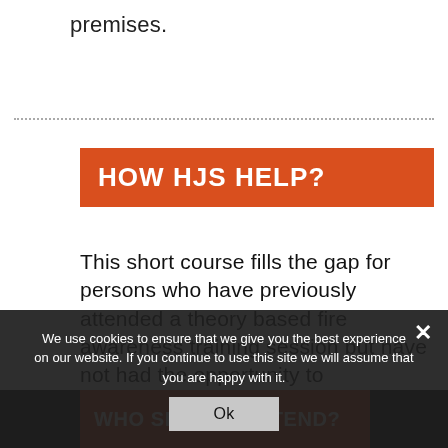premises.
HOW HJS HELP?
This short course fills the gap for persons who have previously attended a theory based fire awareness training session but have not had the opportunity to experience the use of fire extinguishers in a simulated or real fire situation.
We use cookies to ensure that we give you the best experience on our website. If you continue to use this site we will assume that you are happy with it.
Ok
WHO SHOULD ATTEND?